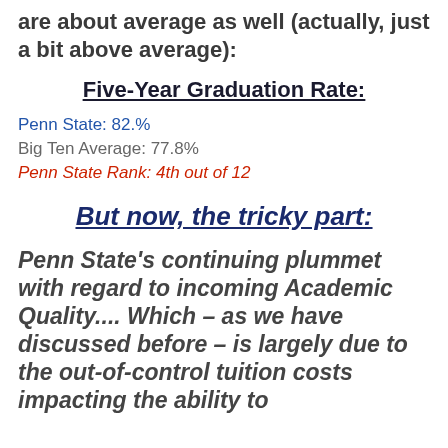are about average as well (actually, just a bit above average):
Five-Year Graduation Rate:
Penn State: 82.%
Big Ten Average: 77.8%
Penn State Rank: 4th out of 12
But now, the tricky part:
Penn State's continuing plummet with regard to incoming Academic Quality.... Which – as we have discussed before – is largely due to the out-of-control tuition costs impacting the ability to